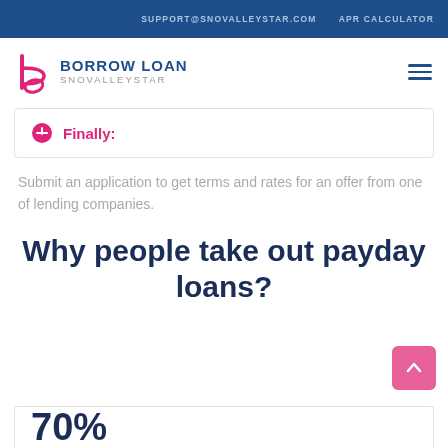SUPPORT@SNOVALLEYSTAR.COM   APR CALCULATOR
[Figure (logo): Borrow Loan Snovalleystar logo with stylized letter b icon in pink and navy blue]
Finally:
Submit an application to get terms and rates for an offer from one of lending companies.
Why people take out payday loans?
70%